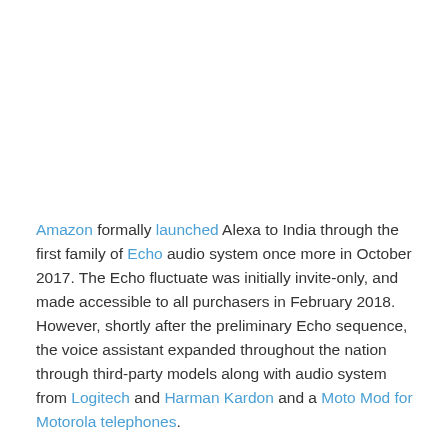Amazon formally launched Alexa to India through the first family of Echo audio system once more in October 2017. The Echo fluctuate was initially invite-only, and made accessible to all purchasers in February 2018. However, shortly after the preliminary Echo sequence, the voice assistant expanded throughout the nation through third-party models along with audio system from Logitech and Harman Kardon and a Moto Mod for Motorola telephones.